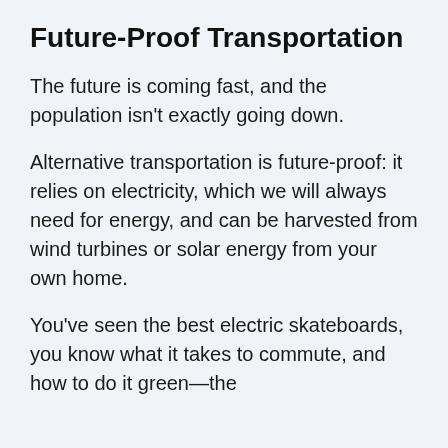Future-Proof Transportation
The future is coming fast, and the population isn't exactly going down.
Alternative transportation is future-proof: it relies on electricity, which we will always need for energy, and can be harvested from wind turbines or solar energy from your own home.
You've seen the best electric skateboards, you know what it takes to commute, and how to do it green—the